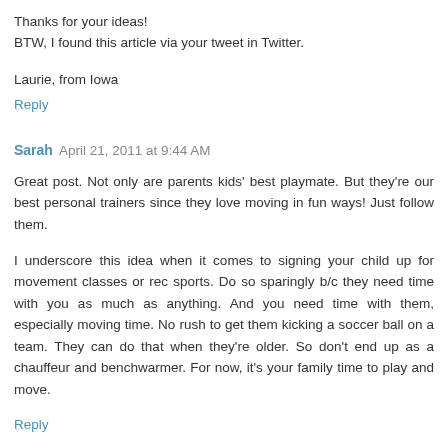Thanks for your ideas!
BTW, I found this article via your tweet in Twitter.
Laurie, from Iowa
Reply
Sarah  April 21, 2011 at 9:44 AM
Great post. Not only are parents kids' best playmate. But they're our best personal trainers since they love moving in fun ways! Just follow them.
I underscore this idea when it comes to signing your child up for movement classes or rec sports. Do so sparingly b/c they need time with you as much as anything. And you need time with them, especially moving time. No rush to get them kicking a soccer ball on a team. They can do that when they're older. So don't end up as a chauffeur and benchwarmer. For now, it's your family time to play and move.
Reply